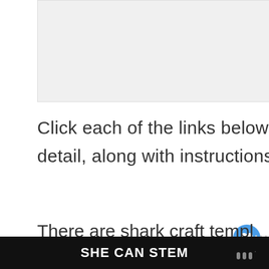[Figure (photo): Image placeholder at top of page, appears to be a craft-related photo (white/light grey area)]
Click each of the links below to see each project in more detail, along with instructions on how to make the craft.
There are shark craft templ... print, paper plate sharks, toilet p...ts,
[Figure (screenshot): Heart/like button (blue circle with heart icon)]
[Figure (screenshot): Share button (light grey circle with share icon)]
[Figure (screenshot): What's Next widget showing '25 Rawr-some Lion Crafts f...' with thumbnail]
SHE CAN STEM